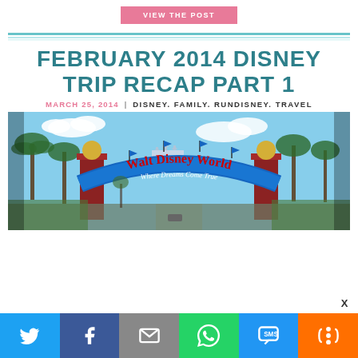[Figure (other): Pink 'VIEW THE POST' button]
[Figure (other): Teal horizontal decorative divider lines]
FEBRUARY 2014 DISNEY TRIP RECAP PART 1
MARCH 25, 2014 | DISNEY. FAMILY. RUNDISNEY. TRAVEL
[Figure (photo): Photo of the Walt Disney World entrance arch sign reading 'Walt Disney World – Where Dreams Come True' with blue flags, palm trees, and clear sky]
[Figure (other): Social sharing bar with Twitter, Facebook, Email, WhatsApp, SMS, and More icons in colored boxes at the bottom of the page]